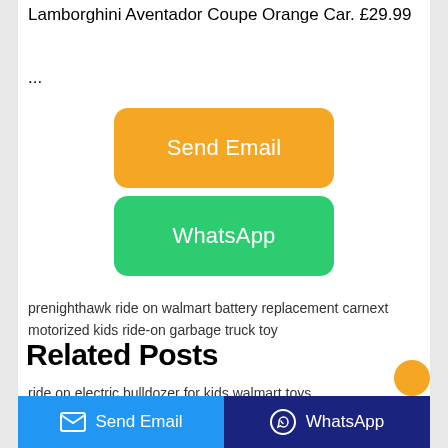Lamborghini Aventador Coupe Orange Car. £29.99
...
[Figure (other): Orange 'Send Email' button]
[Figure (other): Green 'WhatsApp' button]
pre​nighthawk ride on walmart battery replacement carnext​motorized kids ride-on garbage truck toy
Related Posts
ride on electric bulldozer for kids walmart toys
electric ride on ferrari car toy model
can you ride an electric skateboard on the road meme
Send Email   WhatsApp